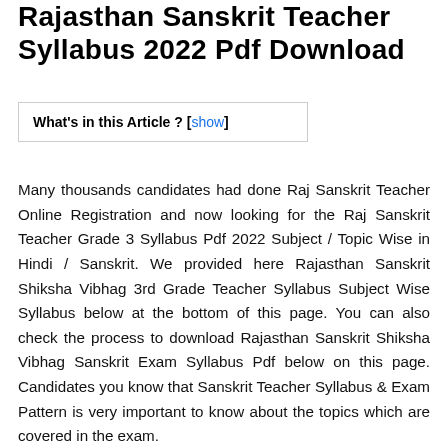Rajasthan Sanskrit Teacher Syllabus 2022 Pdf Download
What's in this Article ? [show]
Many thousands candidates had done Raj Sanskrit Teacher Online Registration and now looking for the Raj Sanskrit Teacher Grade 3 Syllabus Pdf 2022 Subject / Topic Wise in Hindi / Sanskrit. We provided here Rajasthan Sanskrit Shiksha Vibhag 3rd Grade Teacher Syllabus Subject Wise Syllabus below at the bottom of this page. You can also check the process to download Rajasthan Sanskrit Shiksha Vibhag Sanskrit Exam Syllabus Pdf below on this page. Candidates you know that Sanskrit Teacher Syllabus & Exam Pattern is very important to know about the topics which are covered in the exam.